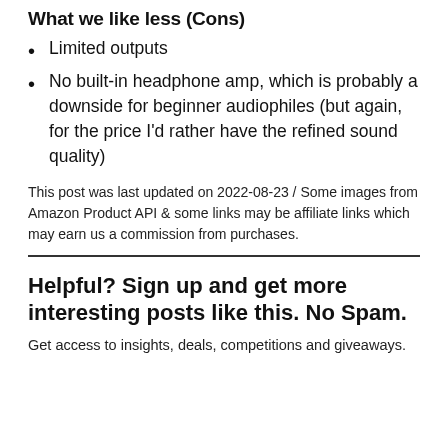What we like less (Cons)
Limited outputs
No built-in headphone amp, which is probably a downside for beginner audiophiles (but again, for the price I'd rather have the refined sound quality)
This post was last updated on 2022-08-23 / Some images from Amazon Product API & some links may be affiliate links which may earn us a commission from purchases.
Helpful? Sign up and get more interesting posts like this. No Spam.
Get access to insights, deals, competitions and giveaways.